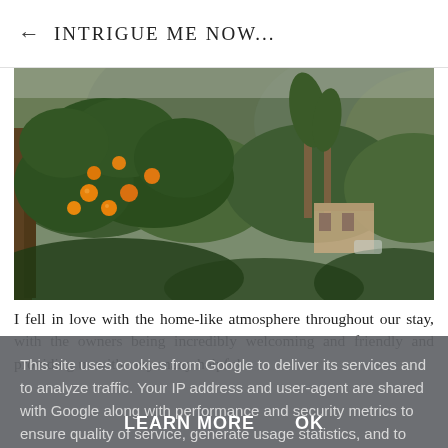← INTRIGUE ME NOW...
[Figure (photo): Outdoor landscape photo showing an orange/citrus tree with fruit in the foreground, dense green vegetation and palm trees in the background, and a building partially visible among the trees on a hillside.]
I fell in love with the home-like atmosphere throughout our stay, with the owners being incredibly welcoming and friendly and providing us with very many helpful...
This site uses cookies from Google to deliver its services and to analyze traffic. Your IP address and user-agent are shared with Google along with performance and security metrics to ensure quality of service, generate usage statistics, and to detect and address abuse.
LEARN MORE   OK